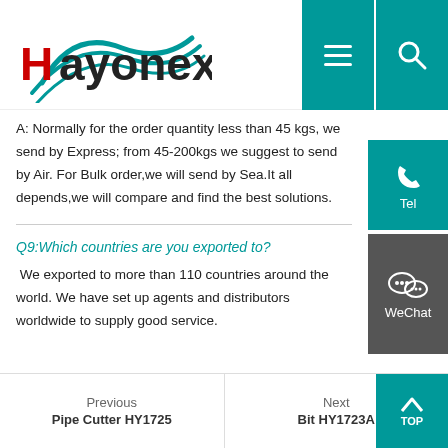Hayonex
A: Normally for the order quantity less than 45 kgs, we send by Express; from 45-200kgs we suggest to send by Air. For Bulk order,we will send by Sea.It all depends,we will compare and find the best solutions.
Q9:Which countries are you exported to?
We exported to more than 110 countries around the world. We have set up agents and distributors worldwide to supply good service.
Previous Pipe Cutter HY1725 | Next Bit HY1723A